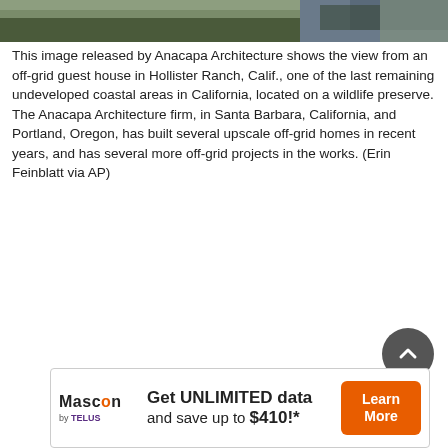[Figure (photo): Photo showing the view from an off-grid guest house in Hollister Ranch, Calif. Image released by Anacapa Architecture. Shows outdoor scenery with vegetation and a structure visible at top.]
This image released by Anacapa Architecture shows the view from an off-grid guest house in Hollister Ranch, Calif., one of the last remaining undeveloped coastal areas in California, located on a wildlife preserve. The Anacapa Architecture firm, in Santa Barbara, California, and Portland, Oregon, has built several upscale off-grid homes in recent years, and has several more off-grid projects in the works. (Erin Feinblatt via AP)
[Figure (other): Advertisement: Mascon by TELUS. Get UNLIMITED data and save up to $410!* Learn More button in orange.]